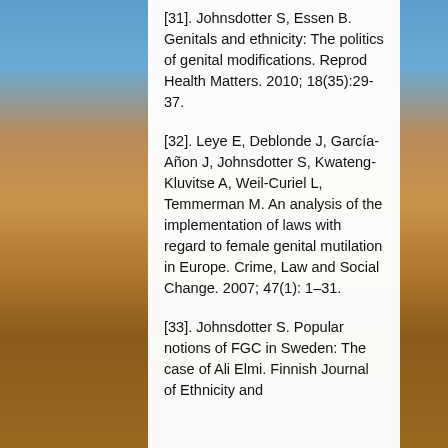[31]. Johnsdotter S, Essen B. Genitals and ethnicity: The politics of genital modifications. Reprod Health Matters. 2010; 18(35):29-37.
[32]. Leye E, Deblonde J, García-Añon J, Johnsdotter S, Kwateng-Kluvitse A, Weil-Curiel L, Temmerman M. An analysis of the implementation of laws with regard to female genital mutilation in Europe. Crime, Law and Social Change. 2007; 47(1): 1–31.
[33]. Johnsdotter S. Popular notions of FGC in Sweden: The case of Ali Elmi. Finnish Journal of Ethnicity and